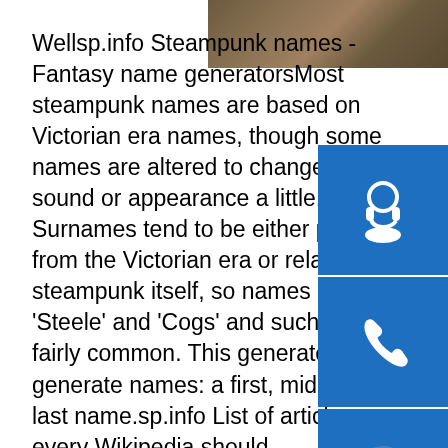[Figure (photo): Partial photo of what appears to be a steampunk or industrial scene, visible in top-right corner]
Wellsp.info Steampunk names - Fantasy name generatorsMost steampunk names are based on Victorian era names, though some names are altered to change their sound or appearance a little. Surnames tend to be either picked from the Victorian era or related to steampunk itself, so names like 'Steele' and 'Cogs' and such are fairly common. This generator will generate names: a first, middle and last name.sp.info List of articles every Wikipedia should have/Expanded - MetaThis is an expanded version of List of articles every Wikipedia should have. The goal of the list is to represent 10,000 articles on the most notable topics in different fields of knowledge and human activity. As it is difficult to compare notability of topics in different fields of …sp.info Furniture | EtsyRequired Cookies & Technologies. Some of the technologies we use are necessary for critical functions like security and site integrity, account authentication, security and privacy preferences, internal site usage and
[Figure (infographic): Blue sidebar with three icons: headset/customer support icon, phone icon, and Skype icon]